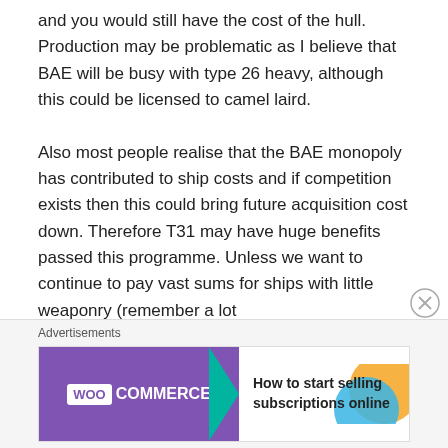and you would still have the cost of the hull. Production may be problematic as I believe that BAE will be busy with type 26 heavy, although this could be licensed to camel laird.

Also most people realise that the BAE monopoly has contributed to ship costs and if competition exists then this could bring future acquisition cost down. Therefore T31 may have huge benefits passed this programme. Unless we want to continue to pay vast sums for ships with little weaponry (remember a lot
[Figure (other): WooCommerce advertisement banner: purple left section with WooCommerce logo and teal arrow, right section with text 'How to start selling subscriptions online' and decorative orange and blue circular shapes]